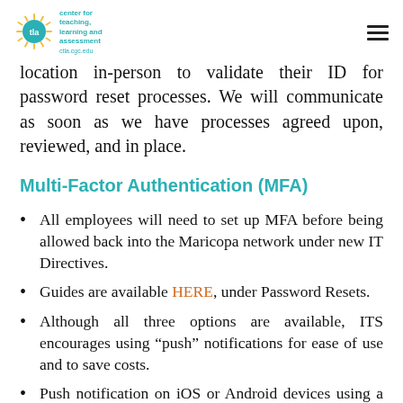center for teaching, learning and assessment | ctla.cgc.edu
location in-person to validate their ID for password reset processes. We will communicate as soon as we have processes agreed upon, reviewed, and in place.
Multi-Factor Authentication (MFA)
All employees will need to set up MFA before being allowed back into the Maricopa network under new IT Directives.
Guides are available HERE, under Password Resets.
Although all three options are available, ITS encourages using “push” notifications for ease of use and to save costs.
Push notification on iOS or Android devices using a supported mobile application (app),